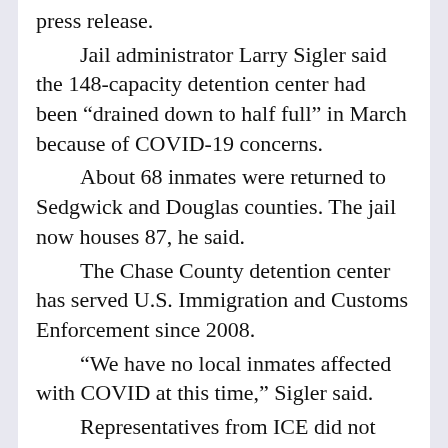press release.
Jail administrator Larry Sigler said the 148-capacity detention center had been “drained down to half full” in March because of COVID-19 concerns.
About 68 inmates were returned to Sedgwick and Douglas counties. The jail now houses 87, he said.
The Chase County detention center has served U.S. Immigration and Customs Enforcement since 2008.
“We have no local inmates affected with COVID at this time,” Sigler said.
Representatives from ICE did not respond to inquiries about the infection status or number of detainees.
Inmates were being placed together based on their infection status, Sigler said.
“We have KDHE involved and we will be testing repeatedly,” he said.